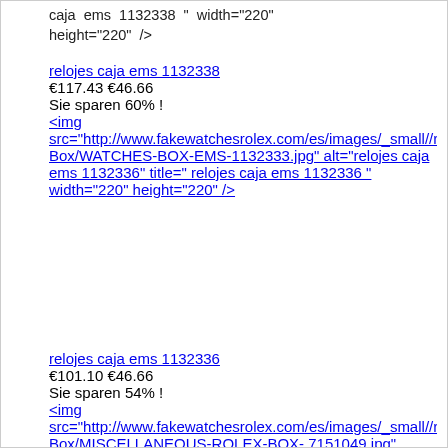caja  ems  1132338  "  width="220" height="220"  /></div></a><br  /><a href="http://www.fakewatchesrolex.com/es/relojes-caja-ems-1132338-p-1561.html">relojes caja ems  1132338</a><br  />&euro;117.43 &euro;46.66 <br />Sie sparen 60% ! <br class="clearBoth"                    /><a href="http://www.fakewatchesrolex.com/es/relojes-caja-ems-1132336-p-1559.html"><div style="vertical-align:  middle;height:220px"> <img src="http://www.fakewatchesrolex.com/es/images/_small//roleBox/WATCHES-BOX-EMS-1132333.jpg" alt="relojes caja ems 1132336" title=" relojes caja  ems  1132336  "  width="220" height="220"  /></div></a><br  /><a href="http://www.fakewatchesrolex.com/es/relojes-caja-ems-1132336-p-1559.html">relojes caja ems  1132336</a><br  />&euro;101.10 &euro;46.66 <br />Sie sparen 54% ! <a href="http://www.fakewatchesrolex.com/es/diverso-cuadro-rolex-7151049-p-1556.html"><div style="vertical-align:  middle;height:220px"> <img src="http://www.fakewatchesrolex.com/es/images/_small//roleBox/MISCELLANEOUS-ROLEX-BOX-7151049.jpg"  alt="diverso  cuadro  rolex 7151049"  title="  diverso  cuadro  rolex 7151049 " width="220" height="165" /></div> </a><br                    /><a